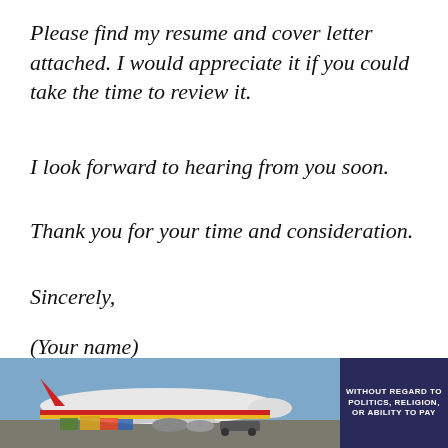Please find my resume and cover letter attached. I would appreciate it if you could take the time to review it.
I look forward to hearing from you soon.
Thank you for your time and consideration.
Sincerely,
(Your name)
(Phone number)
[Figure (photo): Advertisement banner showing a cargo airplane being loaded on a tarmac with colorful livery, alongside a dark blue text box reading 'WITHOUT REGARD TO POLITICS, RELIGION, OR ABILITY TO PAY']